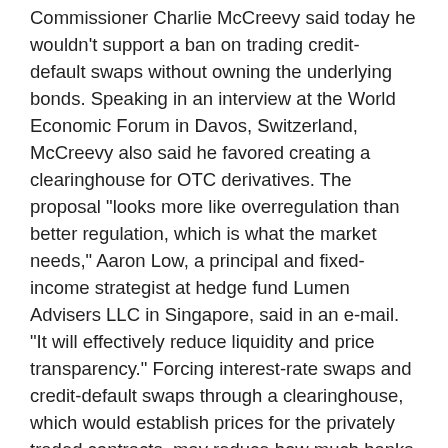Commissioner Charlie McCreevy said today he wouldn't support a ban on trading credit-default swaps without owning the underlying bonds. Speaking in an interview at the World Economic Forum in Davos, Switzerland, McCreevy also said he favored creating a clearinghouse for OTC derivatives. The proposal "looks more like overregulation than better regulation, which is what the market needs," Aaron Low, a principal and fixed-income strategist at hedge fund Lumen Advisers LLC in Singapore, said in an e-mail. "It will effectively reduce liquidity and price transparency." Forcing interest-rate swaps and credit-default swaps through a clearinghouse, which would establish prices for the privately traded contracts, may reduce how much banks are able to make from them.
As much as 40 percent of profit at Goldman Sachs Group Inc. and Morgan Stanley comes from OTC derivatives trading, according to CreditSights Inc. Estimating the new income that